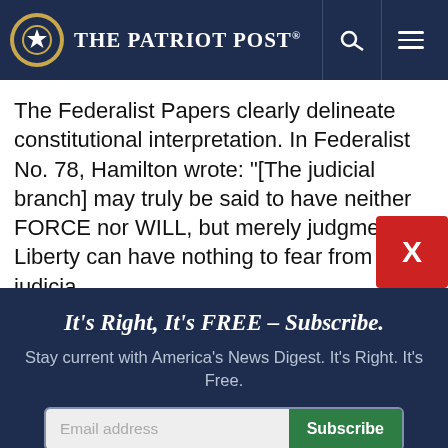The Patriot Post
The Federalist Papers clearly delineate constitutional interpretation. In Federalist No. 78, Hamilton wrote: “[The judicial branch] may truly be said to have neither FORCE nor WILL, but merely judgment. … Liberty can have nothing to fear from the judiciary
It’s Right, It’s FREE – Subscribe.
Stay current with America’s News Digest. It's Right. It's Free.
Email address  Subscribe
I’m Already Subscribed